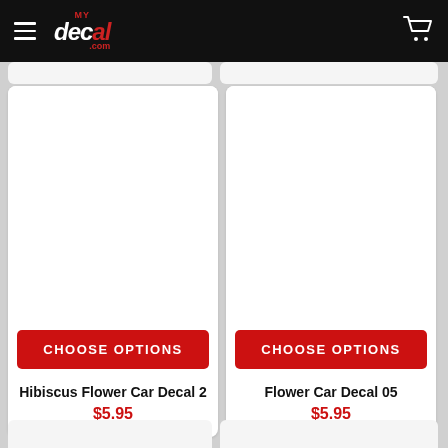[Figure (screenshot): myDecal.com website navigation bar with hamburger menu, logo, and shopping cart icon on black background]
[Figure (screenshot): Product card for Hibiscus Flower Car Decal 2 with white image area, red CHOOSE OPTIONS button, product name, and price $5.95]
Hibiscus Flower Car Decal 2
$5.95
[Figure (screenshot): Product card for Flower Car Decal 05 with white image area, red CHOOSE OPTIONS button, product name, and price $5.95]
Flower Car Decal 05
$5.95